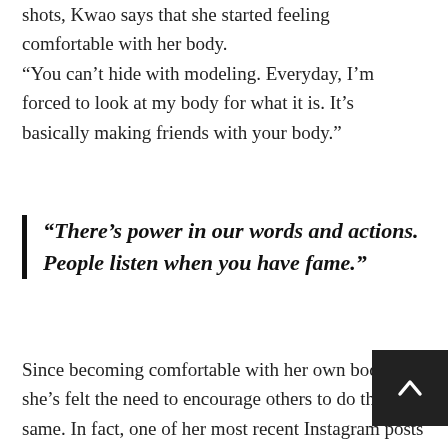shots, Kwao says that she started feeling comfortable with her body. “You can’t hide with modeling. Everyday, I’m forced to look at my body for what it is. It’s basically making friends with your body.”
“There’s power in our words and actions. People listen when you have fame.”
Since becoming comfortable with her own body, she’s felt the need to encourage others to do the same. In fact, one of her most recent Instagram posts sought out to